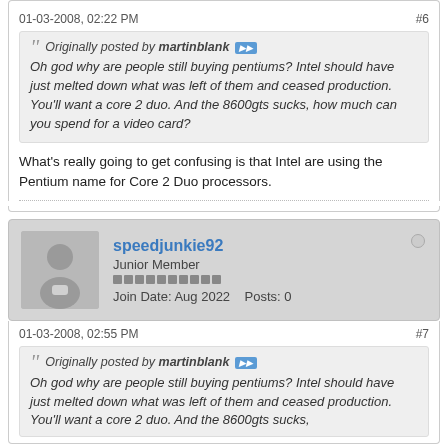01-03-2008, 02:22 PM   #6
Originally posted by martinblank — Oh god why are people still buying pentiums? Intel should have just melted down what was left of them and ceased production. You'll want a core 2 duo. And the 8600gts sucks, how much can you spend for a video card?
What's really going to get confusing is that Intel are using the Pentium name for Core 2 Duo processors.
speedjunkie92 — Junior Member — Join Date: Aug 2022   Posts: 0
01-03-2008, 02:55 PM   #7
Originally posted by martinblank — Oh god why are people still buying pentiums? Intel should have just melted down what was left of them and ceased production. You'll want a core 2 duo. And the 8600gts...